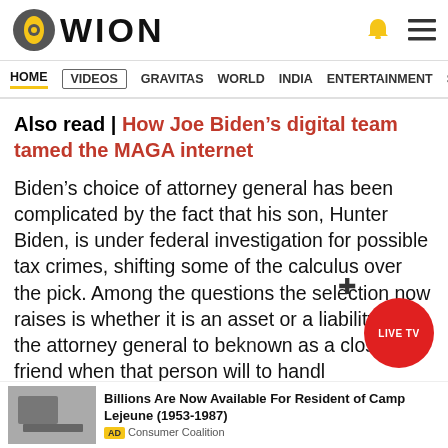WION
HOME  VIDEOS  GRAVITAS  WORLD  INDIA  ENTERTAINMENT  SPORTS
Also read | How Joe Biden's digital team tamed the MAGA internet
Biden's choice of attorney general has been complicated by the fact that his son, Hunter Biden, is under federal investigation for possible tax crimes, shifting some of the calculus over the pick. Among the questions the selection now raises is whether it is an asset or a liability for the attorney general to be known as a close friend when that person will have to handl
Billions Are Now Available For Resident of Camp Lejeune (1953-1987) AD Consumer Coalition